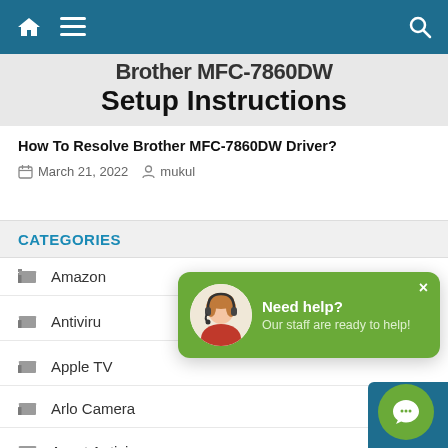Brother MFC-7860DW Setup Instructions
Setup Instructions
How To Resolve Brother MFC-7860DW Driver?
March 21, 2022  mukul
CATEGORIES
Amazon
Antivirus
Apple TV
Arlo Camera
Avast Antivirus
[Figure (infographic): Green chat popup with avatar of woman with headset, text 'Need help? Our staff are ready to help!' and close X button. Green circular chat button in bottom right corner.]